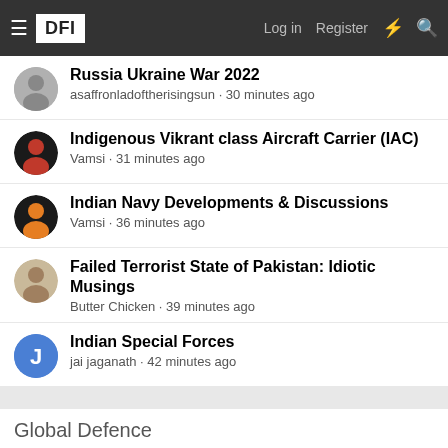DFI | Log in | Register
Russia Ukraine War 2022
asaffronladoftherisingsun · 30 minutes ago
Indigenous Vikrant class Aircraft Carrier (IAC)
Vamsi · 31 minutes ago
Indian Navy Developments & Discussions
Vamsi · 36 minutes ago
Failed Terrorist State of Pakistan: Idiotic Musings
Butter Chicken · 39 minutes ago
Indian Special Forces
jai jaganath · 42 minutes ago
Global Defence
American and European Air to Air Missiles.
Blademaster · Today at 1:51 AM
Small arms and Light Weapons
BlackViking · Yesterday at 11:01 PM